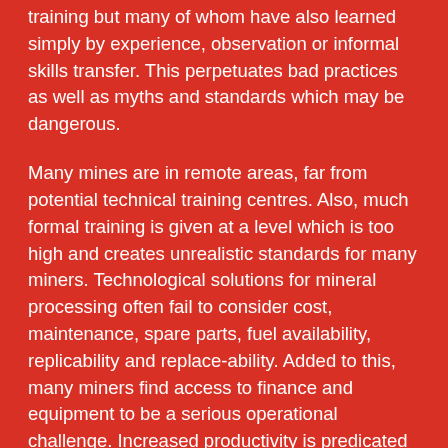training but many of whom have also learned simply by experience, observation or informal skills transfer. This perpetuates bad practices as well as myths and standards which may be dangerous.
Many mines are in remote areas, far from potential technical training centres. Also, much formal training is given at a level which is too high and creates unrealistic standards for many miners. Technological solutions for mineral processing often fail to consider cost, maintenance, spare parts, fuel availability, replicability and replace-ability. Added to this, many miners find access to finance and equipment to be a serious operational challenge. Increased productivity is predicated upon making such practical inputs available.